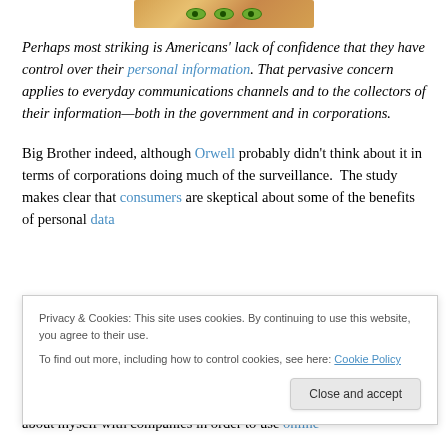[Figure (photo): Partial image at top showing what appears to be decorative eyes or animal eyes with green and golden/brown colors]
Perhaps most striking is Americans' lack of confidence that they have control over their personal information. That pervasive concern applies to everyday communications channels and to the collectors of their information—both in the government and in corporations.
Big Brother indeed, although Orwell probably didn't think about it in terms of corporations doing much of the surveillance.  The study makes clear that consumers are skeptical about some of the benefits of personal data
Privacy & Cookies: This site uses cookies. By continuing to use this website, you agree to their use.
To find out more, including how to control cookies, see here: Cookie Policy
about myself with companies in order to use online